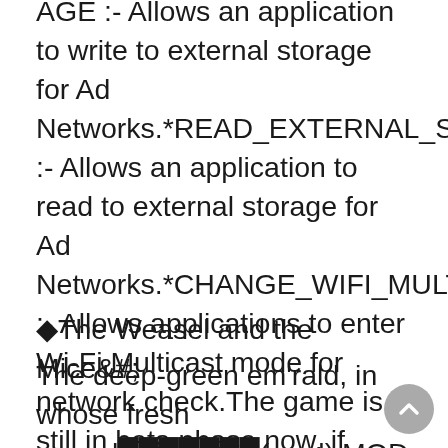AGE :- Allows an application to write to external storage for Ad Networks.*READ_EXTERNAL_STORAGE :- Allows an application to read to external storage for Ad Networks.*CHANGE_WIFI_MULTICAST_STATE :- Allows applications to enter Wi-Fi Multicast mode for network check.The game is still in beta phase now, if there is any bug or suggestion, please give us feedback by clicking on the link below:Link:https://bit.ly/2V6ayRrJoin our community:Facebook Group:  https://www.facebook.com/groups/3040226459427750/?ref=pages_profile_groups_tab&source_id=110100943991083Instagram:  https://www.instagram.com/wweracingshowdown/YouTube:   https://www.youtube.com/channel/UCEvf2HAKa1QfRb5tkeT5GJw?view_as=subscriber◆◆
◆The Weasel and the Mice&#;
The deep-green em'rald, in whose fresh regard███████(mod) MOD APK◆AN EAGLE sat on a lofty rock, watching the movements of a Hare whom he sought to make his prey. An archer, who saw the Eagle from a place of concealment, took an accurate aim and wounde